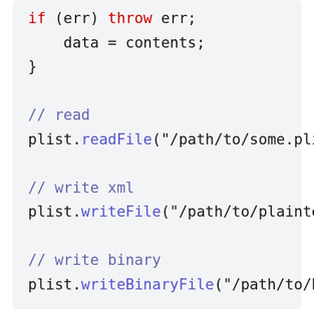if (err) throw err;
    data = contents;
}
// read
plist.readFile("/path/to/some.plist",
// write xml
plist.writeFile("/path/to/plaintext.p
// write binary
plist.writeBinaryFile("/path/to/binar
In Memory
plist.stringify()